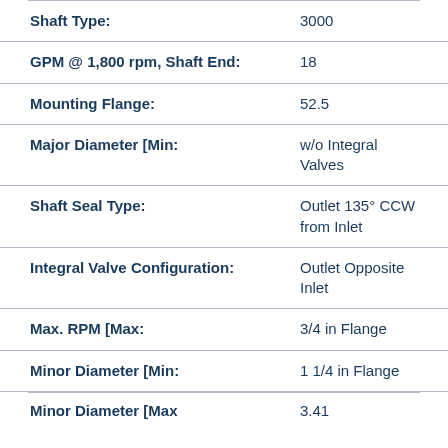| Property | Value |
| --- | --- |
| Shaft Type: | 3000 |
| GPM @ 1,800 rpm, Shaft End: | 18 |
| Mounting Flange: | 52.5 |
| Major Diameter [Min: | w/o Integral Valves |
| Shaft Seal Type: | Outlet 135° CCW from Inlet |
| Integral Valve Configuration: | Outlet Opposite Inlet |
| Max. RPM [Max: | 3/4 in Flange |
| Minor Diameter [Min: | 1 1/4 in Flange |
| Minor Diameter [Max | 3.41 |